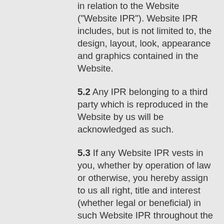in relation to the Website ("Website IPR"). Website IPR includes, but is not limited to, the design, layout, look, appearance and graphics contained in the Website.
5.2 Any IPR belonging to a third party which is reproduced in the Website by us will be acknowledged as such.
5.3 If any Website IPR vests in you, whether by operation of law or otherwise, you hereby assign to us all right, title and interest (whether legal or beneficial) in such Website IPR throughout the world absolutely to the fullest extent possible, including any and all renewals and extensions of such Website IPR. You unconditionally and irrevocably waive any and all moral rights you may have either now or in the future existing in or